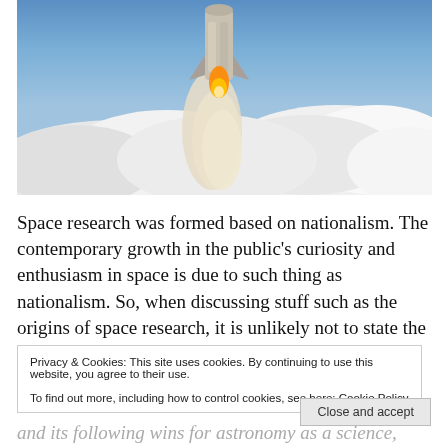[Figure (photo): Space shuttle launch with billowing white smoke clouds against a blue sky]
Space research was formed based on nationalism. The contemporary growth in the public’s curiosity and enthusiasm in space is due to such thing as nationalism. So, when discussing stuff such as the origins of space research, it is unlikely not to state the “Space Race,” the rivalry between America and Russia over who could become the one to possess most ‘firsts’ in the astronautics field. The Space Race, and its following wins for astronomy as a science, occurred during the Cold War when America and Russia were already in strange positions.
Privacy & Cookies: This site uses cookies. By continuing to use this website, you agree to their use.
To find out more, including how to control cookies, see here: Cookie Policy
Close and accept